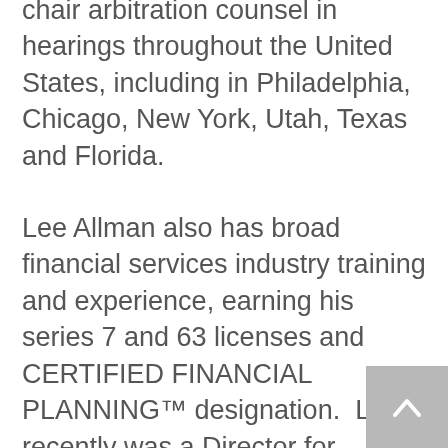chair arbitration counsel in hearings throughout the United States, including in Philadelphia, Chicago, New York, Utah, Texas and Florida.
Lee Allman also has broad financial services industry training and experience, earning his series 7 and 63 licenses and CERTIFIED FINANCIAL PLANNING™ designation.  Lee recently was a Director for Barclays Wealth and Investment Management (Americas) and served on the attorney advisory board for the Commonwealth of